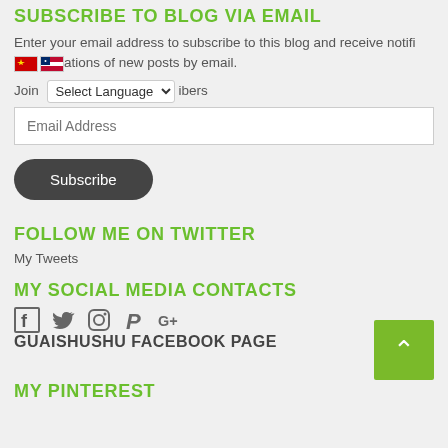SUBSCRIBE TO BLOG VIA EMAIL
Enter your email address to subscribe to this blog and receive notifications of new posts by email.
Join [flags] [Select Language dropdown] ibers
Email Address
Subscribe
FOLLOW ME ON TWITTER
My Tweets
MY SOCIAL MEDIA CONTACTS
[Figure (infographic): Social media icons: Facebook, Twitter, Instagram, Pinterest, Google+]
GUAISHUSHU FACEBOOK PAGE
MY PINTEREST